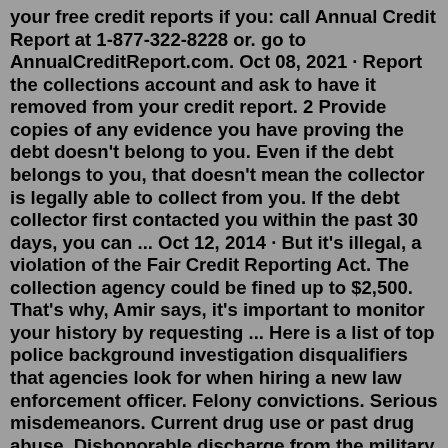your free credit reports if you: call Annual Credit Report at 1-877-322-8228 or. go to AnnualCreditReport.com. Oct 08, 2021 · Report the collections account and ask to have it removed from your credit report. 2 Provide copies of any evidence you have proving the debt doesn't belong to you. Even if the debt belongs to you, that doesn't mean the collector is legally able to collect from you. If the debt collector first contacted you within the past 30 days, you can ... Oct 12, 2014 · But it's illegal, a violation of the Fair Credit Reporting Act. The collection agency could be fined up to $2,500. That's why, Amir says, it's important to monitor your history by requesting ... Here is a list of top police background investigation disqualifiers that agencies look for when hiring a new law enforcement officer. Felony convictions. Serious misdemeanors. Current drug use or past drug abuse. Dishonorable discharge from the military service. Poor credit history.Nov 21, 2018 · First Steps. Contact the creditor by mail or over the phone and request a